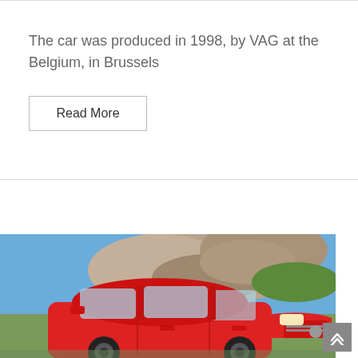The car was produced in 1998, by VAG at the Belgium, in Brussels
Read More
[Figure (photo): A red Volkswagen Polo hatchback car driving on a road with rocky hills and blue sky in the background.]